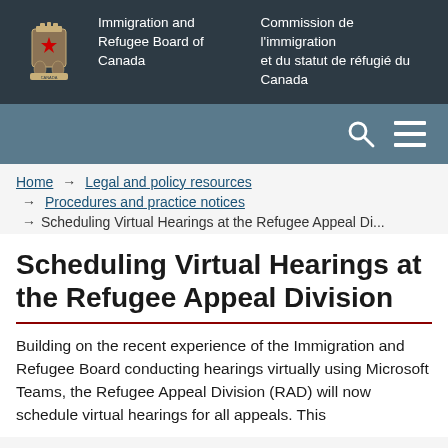[Figure (logo): Immigration and Refugee Board of Canada government header with coat of arms logo, bilingual text in English and French: 'Immigration and Refugee Board of Canada' / 'Commission de l'immigration et du statut de réfugié du Canada']
[Figure (other): Search bar with search icon and menu icon on dark teal background]
Home → Legal and policy resources
→ Procedures and practice notices
→ Scheduling Virtual Hearings at the Refugee Appeal Di...
Scheduling Virtual Hearings at the Refugee Appeal Division
Building on the recent experience of the Immigration and Refugee Board conducting hearings virtually using Microsoft Teams, the Refugee Appeal Division (RAD) will now schedule virtual hearings for all appeals. This